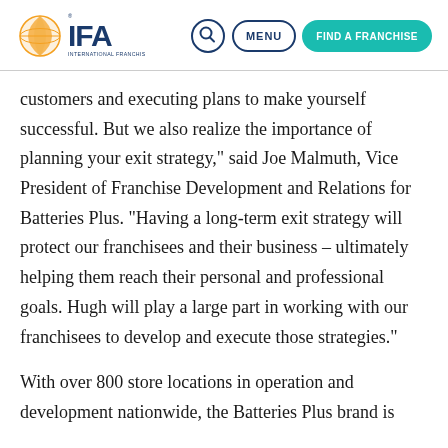IFA - International Franchise Association
customers and executing plans to make yourself successful. But we also realize the importance of planning your exit strategy,” said Joe Malmuth, Vice President of Franchise Development and Relations for Batteries Plus. “Having a long-term exit strategy will protect our franchisees and their business – ultimately helping them reach their personal and professional goals. Hugh will play a large part in working with our franchisees to develop and execute those strategies.”
With over 800 store locations in operation and development nationwide, the Batteries Plus brand is